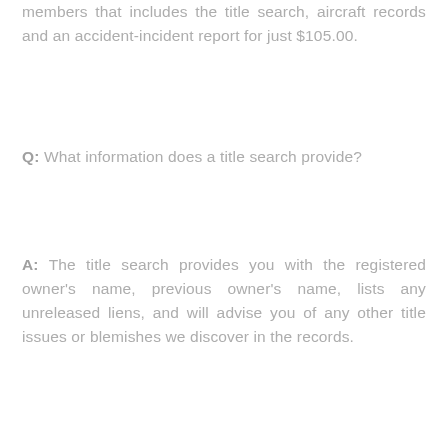members that includes the title search, aircraft records and an accident-incident report for just $105.00.
Q: What information does a title search provide?
A: The title search provides you with the registered owner's name, previous owner's name, lists any unreleased liens, and will advise you of any other title issues or blemishes we discover in the records.